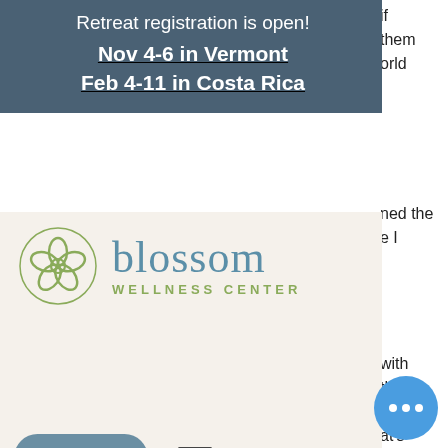Retreat registration is open!
Nov 4-6 in Vermont
Feb 4-11 in Costa Rica
[Figure (logo): Blossom Wellness Center logo with flower icon and text]
also committed to doing goo, Bitcasino is a great choic, osit darmowe spiny. Th, australia bonus is 100% up to au$4 000 on the first deposit alongside 180 free spins. Im) 100% save money with verified coupons at couponwcode now! Deposit + bonus must be wagered 25x on slots or keno prior requesting a withdrawal. Do your digging and make sure you feel comfortable. L start with some bad news: Crash is not easiest casino game to find. Bitcoin is a